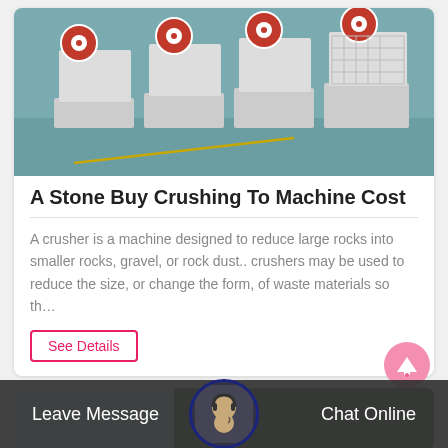[Figure (photo): Photo of industrial stone crushing machines (jaw crushers) in a factory floor with teal/green painted concrete floor]
A Stone Buy Crushing To Machine Cost
A crusher is a machine designed to reduce large rocks into smaller rocks, gravel, or rock dust.. crushers may be used to reduce the size, or change the form, of waste materials so th…
See Details
[Figure (photo): Partial view of a second card with blue sky and trees background]
Leave Message
Chat Online